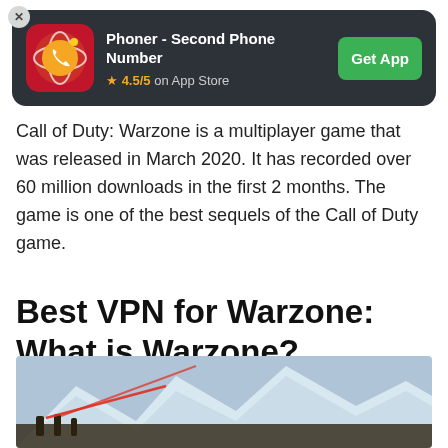[Figure (infographic): App advertisement banner for 'Phoner - Second Phone Number' on dark background with app icon, 4.5/5 App Store rating, and green Get App button]
Call of Duty: Warzone is a multiplayer game that was released in March 2020. It has recorded over 60 million downloads in the first 2 months. The game is one of the best sequels of the Call of Duty game.
Best VPN for Warzone: What is Warzone?
[Figure (photo): Bottom portion of a Call of Duty: Warzone game screenshot showing a snowy mountainous landscape with a red laser effect]